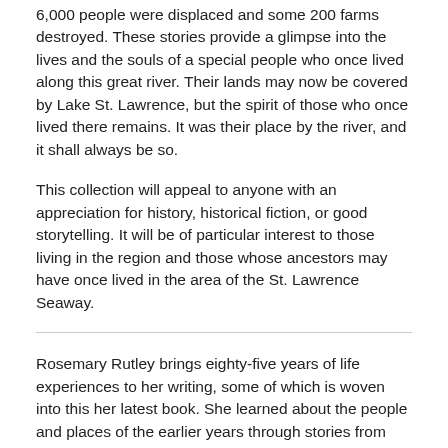6,000 people were displaced and some 200 farms destroyed. These stories provide a glimpse into the lives and the souls of a special people who once lived along this great river. Their lands may now be covered by Lake St. Lawrence, but the spirit of those who once lived there remains. It was their place by the river, and it shall always be so.
This collection will appeal to anyone with an appreciation for history, historical fiction, or good storytelling. It will be of particular interest to those living in the region and those whose ancestors may have once lived in the area of the St. Lawrence Seaway.
Rosemary Rutley brings eighty-five years of life experiences to her writing, some of which is woven into this her latest book. She learned about the people and places of the earlier years through stories from her elders and by researching historical events.
With A Place by the River, the author's main objective is to cultivate the appreciation of the history and way of life within the area of the lost riverside villages of the St. Lawrence River, through the book's stories and characters.
Rosemary is the author of the nonfiction titles Voices from the Lost